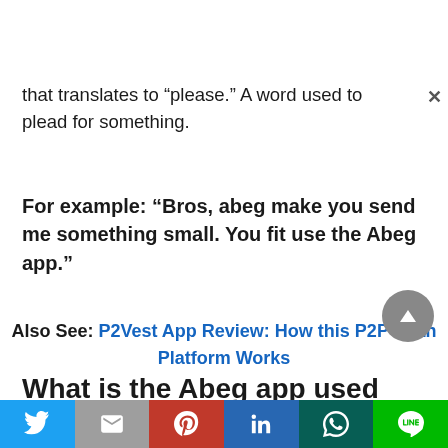that translates to “please.” A word used to plead for something.
For example: “Bros, abeg make you send me something small. You fit use the Abeg app.”
Also See: P2Vest App Review: How this P2P Loan Platform Works
What is the Abeg app used for?
[Figure (other): Social share bar with Twitter, Gmail, Pinterest, LinkedIn, WhatsApp, LINE buttons]